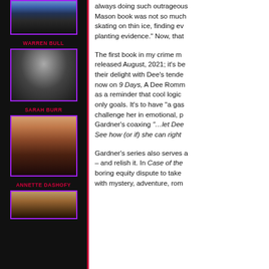[Figure (photo): Partial photo of person with blue arm sling at top of left sidebar]
WARREN BULL
[Figure (photo): Portrait photo of Warren Bull, older man in black shirt against dark background]
SARAH BURR
[Figure (photo): Portrait photo of Sarah Burr, woman with red/auburn hair and floral top, smiling]
ANNETTE DASHOFY
[Figure (photo): Partial portrait photo of Annette Dashofy at bottom of sidebar]
always doing such outrageous... Mason book was not so much skating on thin ice, finding ev... planting evidence." Now, that
The first book in my crime m... released August, 2021; it's be... their delight with Dee's tende... now on 9 Days, A Dee Romm... as a reminder that cool logic... only goals. It's to have "a gas... challenge her in emotional, p... Gardner's coaxing "…let Dee... See how (or if) she can right
Gardner's series also serves a... – and relish it. In Case of the... boring equity dispute to take... with mystery, adventure, rom...